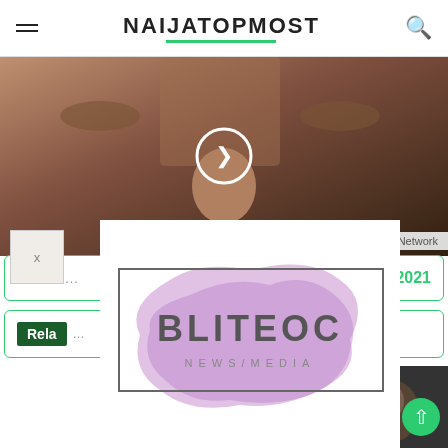NAIJATOPMOST
[Figure (photo): Hero image showing a person with arms raised, dark background, with a circular play button overlay]
Intech Ads Network
Down... e 2021
Rela...
[Figure (logo): BLITEOC NEWS/MEDIA logo with purple brush stroke background and bordered rectangle]
[Figure (photo): Small thumbnail photo - Iwa La...]
[Figure (photo): Thumbnail photo on the right side, number 3 visible]